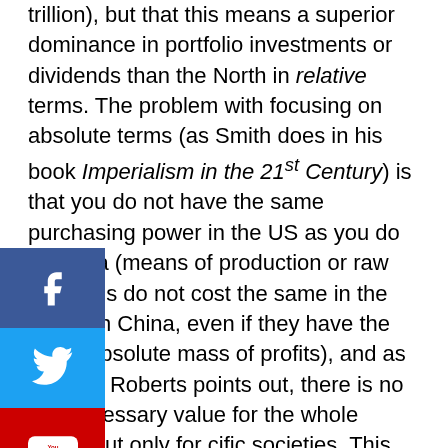trillion), but that this means a superior dominance in portfolio investments or dividends than the North in relative terms. The problem with focusing on absolute terms (as Smith does in his book Imperialism in the 21st Century) is that you do not have the same purchasing power in the US as you do in China (means of production or raw materials do not cost the same in the US as in China, even if they have the same absolute mass of profits), and as Michael Roberts points out, there is no socially necessary value for the whole world, but only for specific societies. This means the absolute mass of profits can be bigger in companies in the North (for example, General Motors, as is pointed out by Smith), but this does not mean the same control over means of production, the same purchasing power, nor the same rate of profit (which is bigger in the South). This is why FDI, portfolio investments and profits in general are relatively superior in the South or emerging economies at the